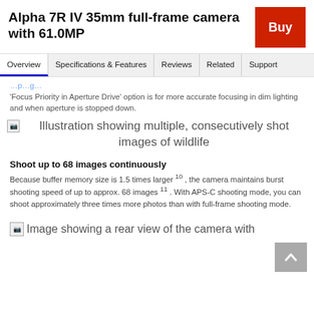Alpha 7R IV 35mm full-frame camera with 61.0MP
'Focus Priority in Aperture Drive' option is for more accurate focusing in dim lighting and when aperture is stopped down.
[Figure (illustration): Illustration showing multiple, consecutively shot images of wildlife]
Shoot up to 68 images continuously
Because buffer memory size is 1.5 times larger 10 , the camera maintains burst shooting speed of up to approx. 68 images 11 . With APS-C shooting mode, you can shoot approximately three times more photos than with full-frame shooting mode.
[Figure (illustration): Image showing a rear view of the camera with]